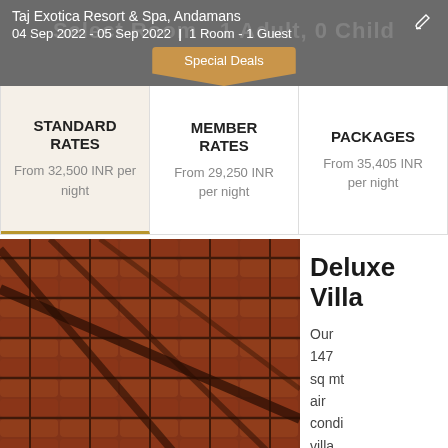Taj Exotica Resort & Spa, Andamans
04 Sep 2022 - 05 Sep 2022 | 1 Room - 1 Guest
Special Deals
| STANDARD RATES | MEMBER RATES | PACKAGES |
| --- | --- | --- |
| From 32,500 INR per night | From 29,250 INR per night | From 35,405 INR per night |
[Figure (photo): Close-up of red terracotta roof tiles with dark grout lines, out of focus]
Deluxe Villa
Our 147 sq mt air condi villa